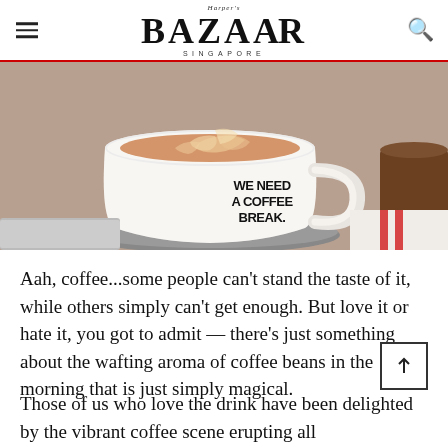Harper's BAZAAR SINGAPORE
[Figure (photo): A white coffee cup on a saucer with latte art on top. The cup reads 'WE NEED A COFFEE BREAK.' in bold black text. The scene is on a grey surface with a warm brown background.]
Aah, coffee...some people can't stand the taste of it, while others simply can't get enough. But love it or hate it, you got to admit — there's just something about the wafting aroma of coffee beans in the morning that is just simply magical.
Those of us who love the drink have been delighted by the vibrant coffee scene erupting all